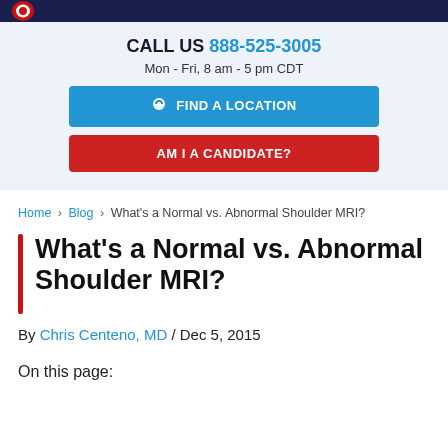CALL US 888-525-3005
Mon - Fri, 8 am - 5 pm CDT
FIND A LOCATION
AM I A CANDIDATE?
Home › Blog › What's a Normal vs. Abnormal Shoulder MRI?
What's a Normal vs. Abnormal Shoulder MRI?
By Chris Centeno, MD / Dec 5, 2015
On this page: